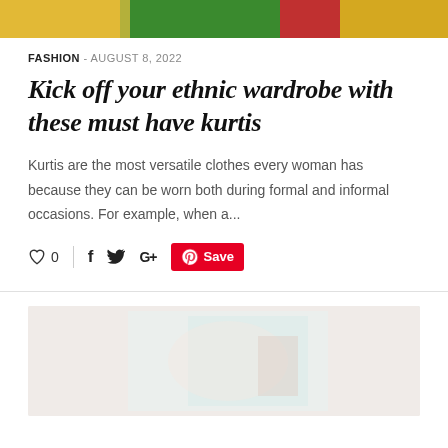[Figure (photo): Cropped top portion of a fashion photo showing women in colorful ethnic Indian clothing — yellow, green, and red garments]
FASHION - AUGUST 8, 2022
Kick off your ethnic wardrobe with these must have kurtis
Kurtis are the most versatile clothes every woman has because they can be worn both during formal and informal occasions. For example, when a...
[Figure (infographic): Social sharing bar with heart/like icon showing 0, vertical divider, Facebook icon, Twitter icon, Google+ icon, and Pinterest Save button in red]
[Figure (photo): Bottom cropped fashion photo showing a light-colored / pastel aesthetic scene, partially visible]